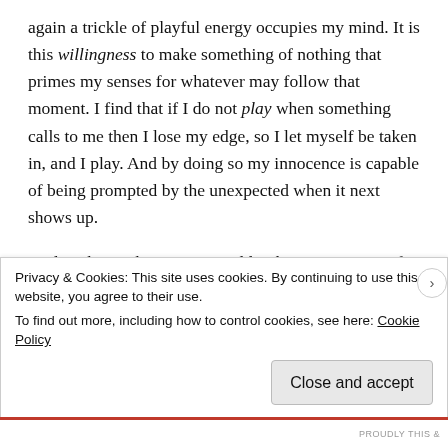again a trickle of playful energy occupies my mind. It is this willingness to make something of nothing that primes my senses for whatever may follow that moment. I find that if I do not play when something calls to me then I lose my edge, so I let myself be taken in, and I play. And by doing so my innocence is capable of being prompted by the unexpected when it next shows up.
And we know that as we get older the innocent joy of discovery gets whittled away by all the other responsibilities that life throws at us, which distracts us from that state of play. So a moment of open ended curiosity, and the freedom i...
Privacy & Cookies: This site uses cookies. By continuing to use this website, you agree to their use.
To find out more, including how to control cookies, see here: Cookie Policy